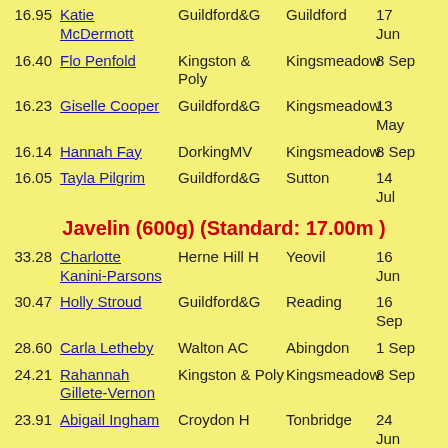16.95 Katie McDermott Guildford&G Guildford 17 Jun
16.40 Flo Penfold Kingston & Poly Kingsmeadow 8 Sep
16.23 Giselle Cooper Guildford&G Kingsmeadow 13 May
16.14 Hannah Fay DorkingMV Kingsmeadow 8 Sep
16.05 Tayla Pilgrim Guildford&G Sutton 14 Jul
Javelin (600g) (Standard: 17.00m )
33.28 Charlotte Kanini-Parsons Herne Hill H Yeovil 16 Jun
30.47 Holly Stroud Guildford&G Reading 16 Sep
28.60 Carla Letheby Walton AC Abingdon 1 Sep
24.21 Rahannah Gillete-Vernon Kingston & Poly Kingsmeadow 8 Sep
23.91 Abigail Ingham Croydon H Tonbridge 24 Jun
22.73 Victoria Petrova Walton AC Abingdon 1 Sep
22.33 Harriet Field South London Horsham 3 Jun